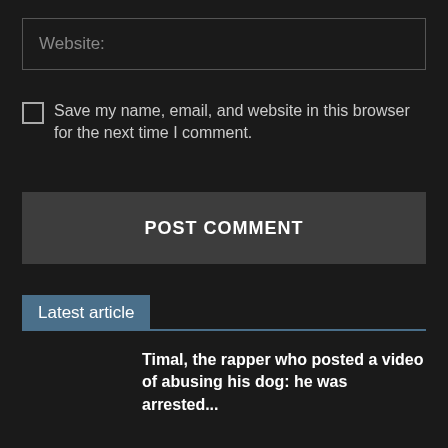Website:
Save my name, email, and website in this browser for the next time I comment.
POST COMMENT
Latest article
Timal, the rapper who posted a video of abusing his dog: he was arrested...
Dear billers, 65 points for saving consumption: here is the vademecum from Argentina